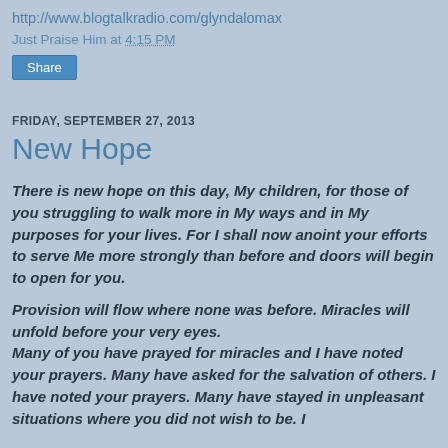http://www.blogtalkradio.com/glyndalomax
Just Praise Him at 4:15 PM
Share
FRIDAY, SEPTEMBER 27, 2013
New Hope
There is new hope on this day, My children, for those of you struggling to walk more in My ways and in My purposes for your lives. For I shall now anoint your efforts to serve Me more strongly than before and doors will begin to open for you.
Provision will flow where none was before. Miracles will unfold before your very eyes.
Many of you have prayed for miracles and I have noted your prayers. Many have asked for the salvation of others. I have noted your prayers. Many have stayed in unpleasant situations where you did not wish to be. I